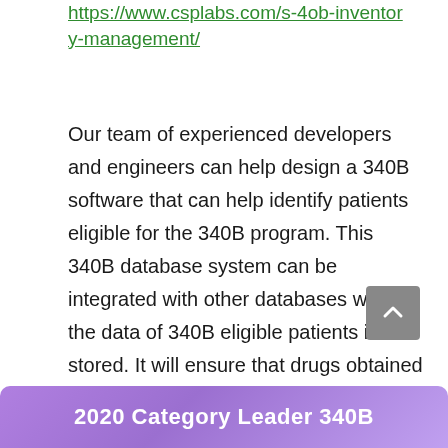https://www.csplabs.com/s-4ob-inventory-management/
Our team of experienced developers and engineers can help design a 340B software that can help identify patients eligible for the 340B program. This 340B database system can be integrated with other databases where the data of 340B eligible patients is stored. It will ensure that drugs obtained under the 340B program are restricted to outpatient use and given to individuals who meet the ?
2020 Category Leader 340B